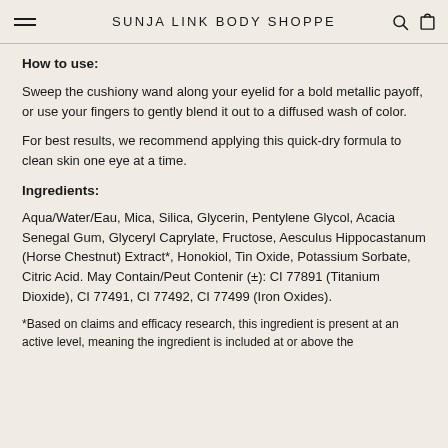SUNJA LINK BODY SHOPPE
How to use:
Sweep the cushiony wand along your eyelid for a bold metallic payoff, or use your fingers to gently blend it out to a diffused wash of color.
For best results, we recommend applying this quick-dry formula to clean skin one eye at a time.
Ingredients:
Aqua/Water/Eau, Mica, Silica, Glycerin, Pentylene Glycol, Acacia Senegal Gum, Glyceryl Caprylate, Fructose, Aesculus Hippocastanum (Horse Chestnut) Extract*, Honokiol, Tin Oxide, Potassium Sorbate, Citric Acid. May Contain/Peut Contenir (±): CI 77891 (Titanium Dioxide), CI 77491, CI 77492, CI 77499 (Iron Oxides).
*Based on claims and efficacy research, this ingredient is present at an active level, meaning the ingredient is included at or above the